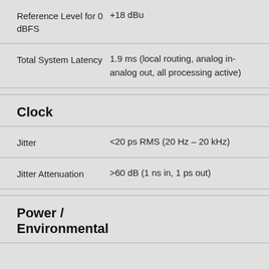| Parameter | Value |
| --- | --- |
| Reference Level for 0 dBFS | +18 dBu |
| Total System Latency | 1.9 ms (local routing, analog in-analog out, all processing active) |
Clock
| Parameter | Value |
| --- | --- |
| Jitter | <20 ps RMS (20 Hz – 20 kHz) |
| Jitter Attenuation | >60 dB (1 ns in, 1 ps out) |
Power / Environmental